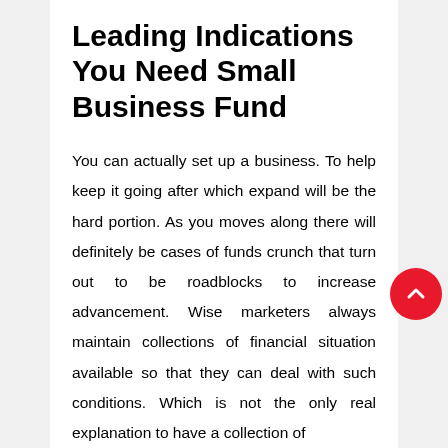Leading Indications You Need Small Business Fund
You can actually set up a business. To help keep it going after which expand will be the hard portion. As you moves along there will definitely be cases of funds crunch that turn out to be roadblocks to increase advancement. Wise marketers always maintain collections of financial situation available so that they can deal with such conditions. Which is not the only real explanation to have a collection of